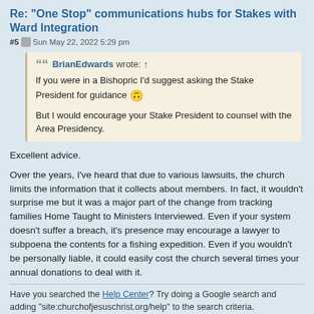Re: "One Stop" communications hubs for Stakes with Ward Integration
#5  Sun May 22, 2022 5:29 pm
BrianEdwards wrote: ↑
If you were in a Bishopric I'd suggest asking the Stake President for guidance 🙃

But I would encourage your Stake President to counsel with the Area Presidency.
Excellent advice.
Over the years, I've heard that due to various lawsuits, the church limits the information that it collects about members. In fact, it wouldn't surprise me but it was a major part of the change from tracking families Home Taught to Ministers Interviewed. Even if your system doesn't suffer a breach, it's presence may encourage a lawyer to subpoena the contents for a fishing expedition. Even if you wouldn't be personally liable, it could easily cost the church several times your annual donations to deal with it.
Have you searched the Help Center? Try doing a Google search and adding "site:churchofjesuschrist.org/help" to the search criteria.